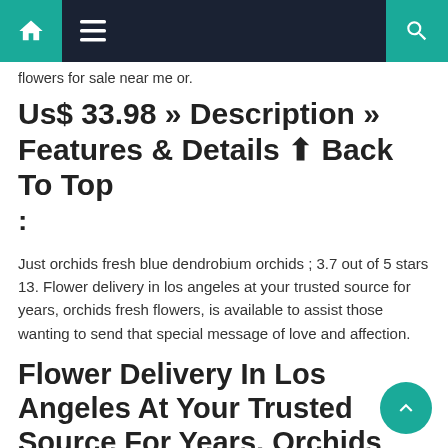Home | Menu | Search
flowers for sale near me or.
Us$ 33.98 » Description » Features & Details ⬆ Back To Top :
Just orchids fresh blue dendrobium orchids ; 3.7 out of 5 stars 13. Flower delivery in los angeles at your trusted source for years, orchids fresh flowers, is available to assist those wanting to send that special message of love and affection.
Flower Delivery In Los Angeles At Your Trusted Source For Years, Orchids Fresh Flowers, Is Available To Assist Those